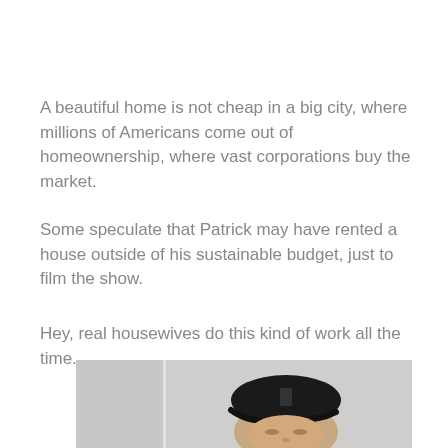A beautiful home is not cheap in a big city, where millions of Americans come out of homeownership, where vast corporations buy the market.
Some speculate that Patrick may have rented a house outside of his sustainable budget, just to film the show.
Hey, real housewives do this kind of work all the time.
[Figure (photo): A man wearing a black baseball cap with a logo, photographed indoors. A vertical door frame or wall line is visible on the left side of the photo. The man appears to be looking slightly downward.]